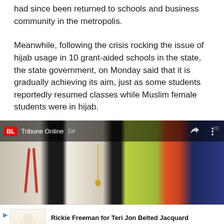had since been returned to schools and business community in the metropolis.
Meanwhile, following the crisis rocking the issue of hijab usage in 10 grant-aided schools in the state, the state government, on Monday said that it is gradually achieving its aim, just as some students reportedly resumed classes while Muslim female students were in hijab.
[Figure (photo): Video thumbnail showing people standing in a group, with a yellow/green garment visible. Overlay bar shows BL logo, 'Tribune Online', and '1w' timestamp.]
[Figure (photo): Advertisement image showing a white dress/gown on a model.]
Rickie Freeman for Teri Jon Belted Jacquard Shirtdress
sponsored by: Bergdorf Goodman
760.00 USD